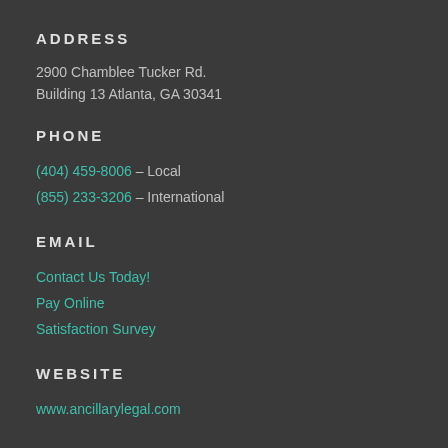ADDRESS
2900 Chamblee Tucker Rd.
Building 13 Atlanta, GA 30341
PHONE
(404) 459-8006 – Local
(855) 233-3206 – International
EMAIL
Contact Us Today!
Pay Online
Satisfaction Survey
WEBSITE
www.ancillarylegal.com